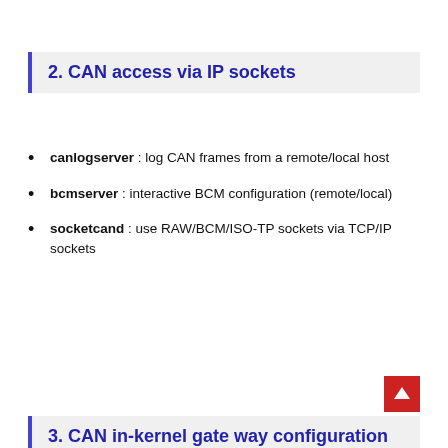2. CAN access via IP sockets
canlogserver : log CAN frames from a remote/local host
bcmserver : interactive BCM configuration (remote/local)
socketcand : use RAW/BCM/ISO-TP sockets via TCP/IP sockets
3. CAN in-kernel gate way configuration